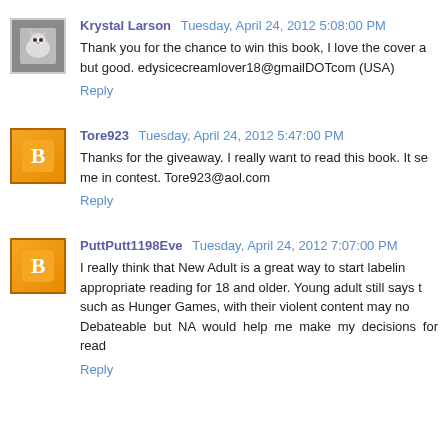Krystal Larson  Tuesday, April 24, 2012 5:08:00 PM
Thank you for the chance to win this book, I love the cover a... but good. edysicecreamlover18@gmailDOTcom (USA)
Reply
Tore923  Tuesday, April 24, 2012 5:47:00 PM
Thanks for the giveaway. I really want to read this book. It s... me in contest. Tore923@aol.com
Reply
PuttPutt1198Eve  Tuesday, April 24, 2012 7:07:00 PM
I really think that New Adult is a great way to start labelin... appropriate reading for 18 and older. Young adult still says t... such as Hunger Games, with their violent content may no... Debateable but NA would help me make my decisions for read...
Reply